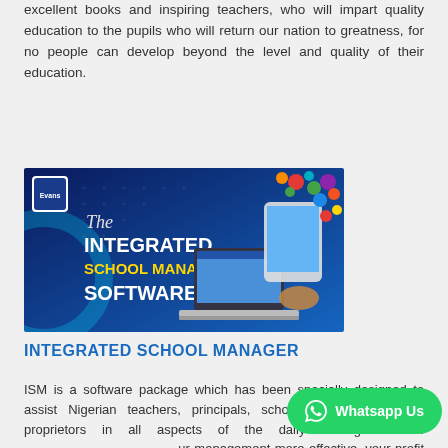excellent books and inspiring teachers, who will impart quality education to the pupils who will return our nation to greatness, for no people can develop beyond the level and quality of their education.
Learn More
[Figure (illustration): Advertisement banner for The Integrated School Manager Software by Evans, showing a laptop, tablet with colorful app icons floating out of it, on a dark blue background with dot pattern.]
INTEGRATED SCHOOL MANAGER
ISM is a software package which has been specially designed to assist Nigerian teachers, principals, school administrators and proprietors in all aspects of the daily management of ... your management more effective, your profit larger and your life easier.